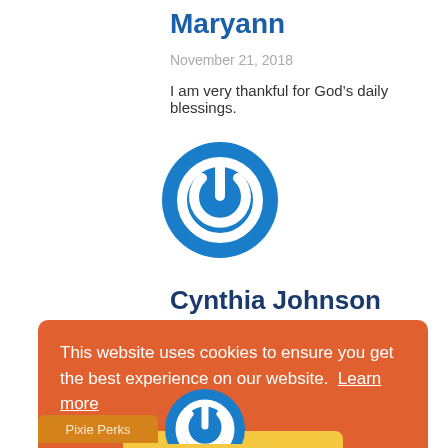Maryann
November 21, 2018
I am very thankful for God’s daily blessings.
[Figure (logo): Blue circular power button icon avatar for Cynthia Johnson]
Cynthia Johnson
This website uses cookies to ensure you get the best experience on our website. Learn more
Got it!
Pixie Perks